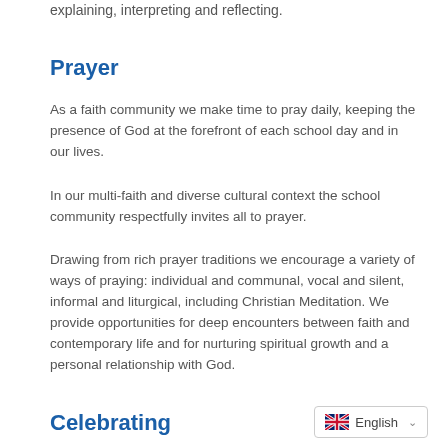explaining, interpreting and reflecting.
Prayer
As a faith community we make time to pray daily, keeping the presence of God at the forefront of each school day and in our lives.
In our multi-faith and diverse cultural context the school community respectfully invites all to prayer.
Drawing from rich prayer traditions we encourage a variety of ways of praying: individual and communal, vocal and silent, informal and liturgical, including Christian Meditation. We provide opportunities for deep encounters between faith and contemporary life and for nurturing spiritual growth and a personal relationship with God.
Celebrating